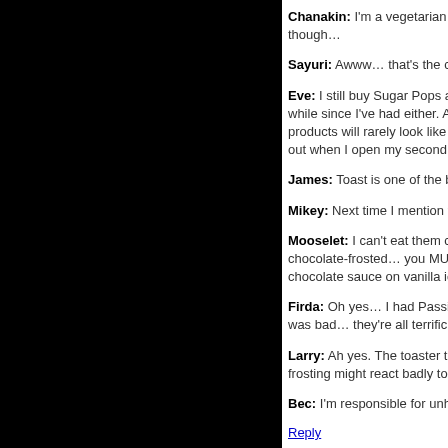Chanakin: I'm a vegetarian and h… though…
Sayuri: Awww… that's the cartoo…
Eve: I still buy Sugar Pops and S… while since I've had either. Actuall… products will rarely look like they a… out when I open my second box.
James: Toast is one of the bestes…
Mikey: Next time I mention vibrat…
Mooselet: I can't eat them cold… chocolate-frosted… you MUST try… chocolate sauce on vanilla ice cre…
Firda: Oh yes… I had Passion Fla… was bad… they're all terrific, and…
Larry: Ah yes. The toaster that bu… frosting might react badly to the d…
Bec: I'm responsible for unhealthy…
Reply
31. Dave2 says: April 29, 2006 at 7:19 am
RW: Nope. That's Hello Kitty's frie…